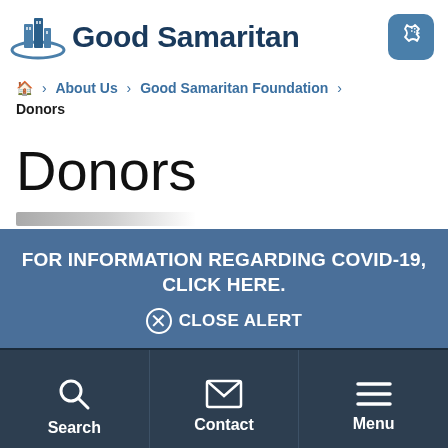[Figure (logo): Good Samaritan logo with building icon and phone button]
Home > About Us > Good Samaritan Foundation > Donors
Donors
FOR INFORMATION REGARDING COVID-19, CLICK HERE. ⊗ CLOSE ALERT
[Figure (infographic): Bottom navigation bar with Search, Contact, and Menu icons]